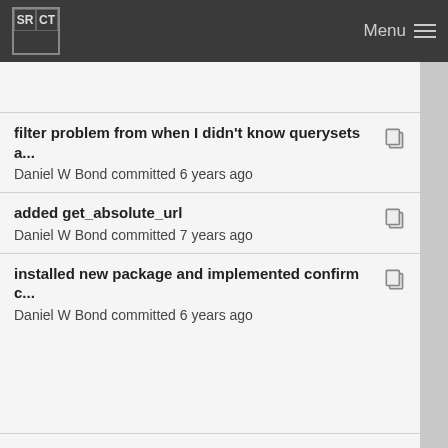SRCT Menu
filter problem from when I didn't know querysets a...
Daniel W Bond committed 6 years ago
added get_absolute_url
Daniel W Bond committed 7 years ago
installed new package and implemented confirm c...
Daniel W Bond committed 6 years ago
implemented deleteview
Daniel W Bond committed 6 years ago
began python3 transition: print_function and abso...
Daniel W Bond committed 6 years ago